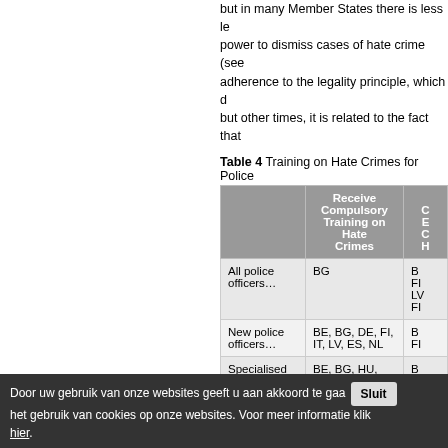but in many Member States there is less le power to dismiss cases of hate crime (see adherence to the legality principle, which d but other times, it is related to the fact that
Table 4  Training on Hate Crimes for Police
|  | Receive Compulsory Training on Hate Crimes | C E C H |
| --- | --- | --- |
| All police officers… | BG | B FI LV FI |
| New police officers… | BE, BG, DE, FI, IT, LV, ES, NL | B FI |
| Specialised police officers… | BE, BG, HU, ES, PL, NL | B D |
| All public | BG, PL | B |
| New public | BE, BG, EL, MT |  |
Door uw gebruik van onze websites geeft u aan akkoord te gaan met het gebruik van cookies op onze websites. Voor meer informatie klik hier.